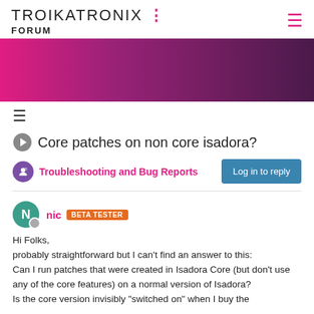TROIKATRONIX : FORUM
[Figure (illustration): Gradient banner image from magenta/pink on the left to dark purple on the right]
Core patches on non core isadora?
Troubleshooting and Bug Reports
Log in to reply
nic BETA TESTER
Hi Folks,
probably straightforward but I can't find an answer to this:
Can I run patches that were created in Isadora Core (but don't use any of the core features) on a normal version of Isadora?
Is the core version invisibly "switched on" when I buy the